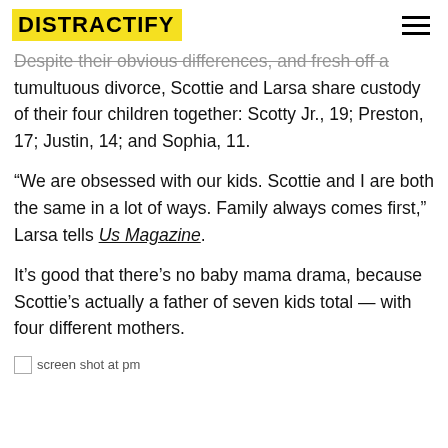DISTRACTIFY
Despite their obvious differences, and fresh off a tumultuous divorce, Scottie and Larsa share custody of their four children together: Scotty Jr., 19; Preston, 17; Justin, 14; and Sophia, 11.
“We are obsessed with our kids. Scottie and I are both the same in a lot of ways. Family always comes first,” Larsa tells Us Magazine.
It’s good that there’s no baby mama drama, because Scottie’s actually a father of seven kids total — with four different mothers.
[Figure (screenshot): Broken image placeholder with alt text 'screen shot at pm']